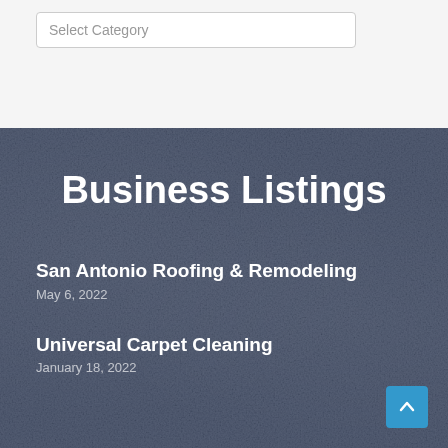Select Category
Business Listings
San Antonio Roofing & Remodeling
May 6, 2022
Universal Carpet Cleaning
January 18, 2022